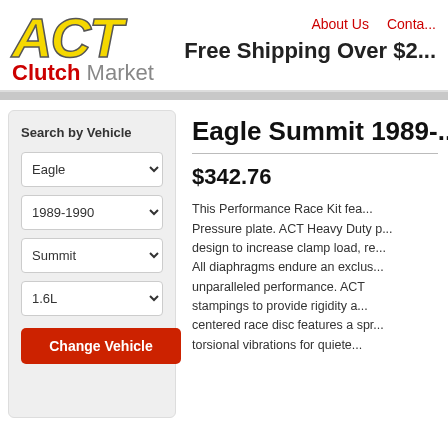[Figure (logo): ACT Clutch Market logo with yellow italic ACT text and red 'Clutch' and gray 'Market' below]
About Us   Contact   Free Shipping Over $2...
Search by Vehicle
Eagle | 1989-1990 | Summit | 1.6L | Change Vehicle
Eagle Summit 1989-...
$342.76
This Performance Race Kit features... Pressure plate. ACT Heavy Duty... design to increase clamp load, re... All diaphragms endure an exclus... unparalleled performance. ACT... stampings to provide rigidity a... centered race disc features a spr... torsional vibrations for quiete...